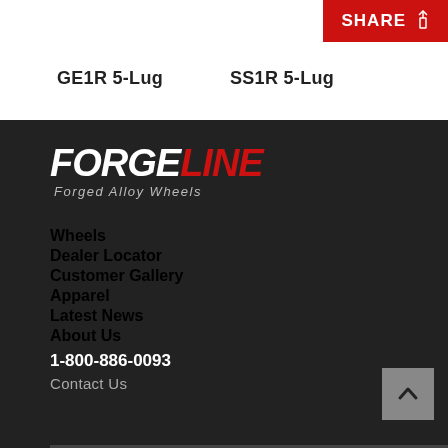[Figure (screenshot): Top white section showing two wheel product labels: GE1R 5-Lug on the left and SS1R 5-Lug on the right, with a red SHARE button in the top-right corner.]
GE1R 5-Lug
SS1R 5-Lug
[Figure (logo): Forgeline logo with FORGE in white italic bold and LINE in red italic bold, with tagline 'Forged Alloy Wheels' in italic gray below.]
Wheels
Dealer Locator
Customer Gallery
Apparel
Latest News
About Us
1-800-886-0093
Contact Us